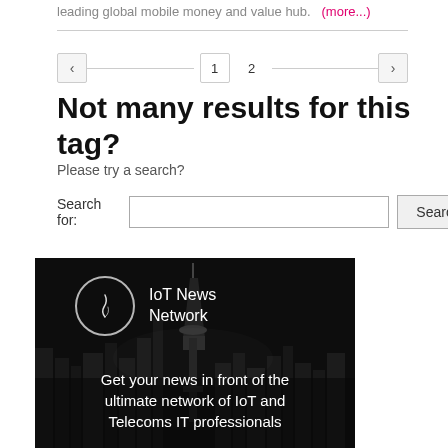leading global mobile money and value hub. (more...)
1 2
Not many results for this tag?
Please try a search?
Search for: [input] Search
[Figure (illustration): IoT News Network advertisement banner with dark cityscape background showing city skyline at night. Logo with circle and feather icon on top left, IoT News Network text. Bottom text: Get your news in front of the ultimate network of IoT and Telecoms IT professionals]